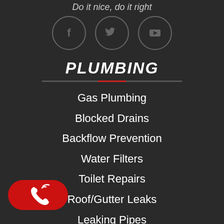Do it nice, do it right
[Figure (illustration): Three social media icon circles: Facebook (f), Twitter (bird), YouTube (play button), arranged in a row with dark circle borders on dark background]
PLUMBING
Gas Plumbing
Blocked Drains
Backflow Prevention
Water Filters
Toilet Repairs
Roof/Gutter Leaks
Leaking Pipes
Leak Detection
[Figure (illustration): Red rounded rectangle call button with white phone/signal icon on bottom left of page]